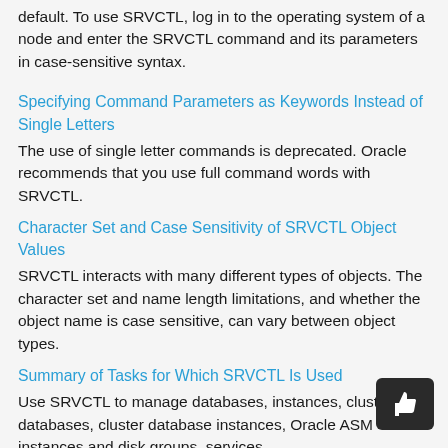default. To use SRVCTL, log in to the operating system of a node and enter the SRVCTL command and its parameters in case-sensitive syntax.
Specifying Command Parameters as Keywords Instead of Single Letters
The use of single letter commands is deprecated. Oracle recommends that you use full command words with SRVCTL.
Character Set and Case Sensitivity of SRVCTL Object Values
SRVCTL interacts with many different types of objects. The character set and name length limitations, and whether the object name is case sensitive, can vary between object types.
Summary of Tasks for Which SRVCTL Is Used
Use SRVCTL to manage databases, instances, cluster databases, cluster database instances, Oracle ASM instances and disk groups, services,